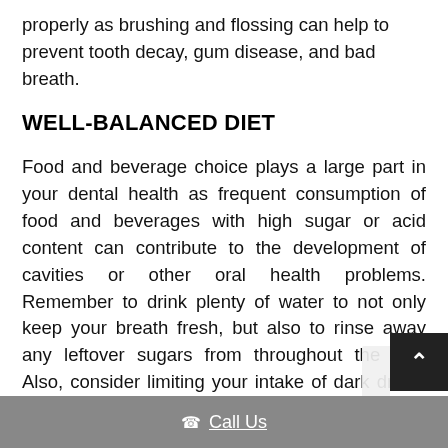properly as brushing and flossing can help to prevent tooth decay, gum disease, and bad breath.
WELL-BALANCED DIET
Food and beverage choice plays a large part in your dental health as frequent consumption of food and beverages with high sugar or acid content can contribute to the development of cavities or other oral health problems. Remember to drink plenty of water to not only keep your breath fresh, but also to rinse away any leftover sugars from throughout the day. Also, consider limiting your intake of dark drinks and foods that can stain your teeth. Eating fibrous foods ar
Call Us